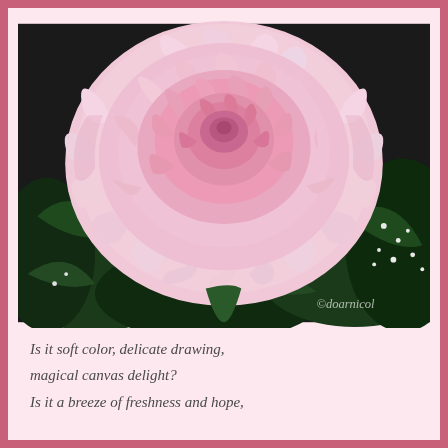[Figure (photo): Close-up photograph of a large pink carnation flower in full bloom, with delicate frilled pale pink petals. Green foliage and small white baby's breath flowers visible in the background. Watermark '©doarnicol' in bottom right corner.]
Is it soft color, delicate drawing,
magical canvas delight?
Is it a breeze of freshness and hope,